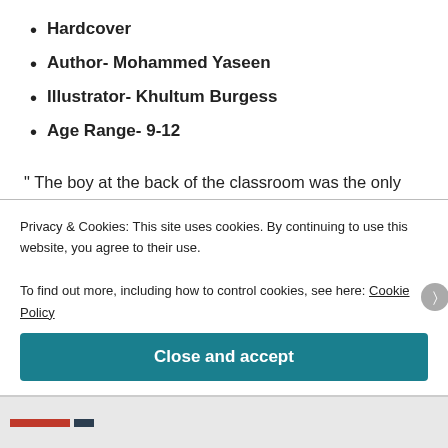Hardcover
Author- Mohammed Yaseen
Illustrator- Khultum Burgess
Age Range- 9-12
" The boy at the back of the classroom was the only one not staring at Abdullah. Who was he, Abdullah thought to himself? Abdullah knew that the boy had some sort of secret that made him different from the others, something that made him stand out. But what was it?
Privacy & Cookies: This site uses cookies. By continuing to use this website, you agree to their use.
To find out more, including how to control cookies, see here: Cookie Policy
Close and accept